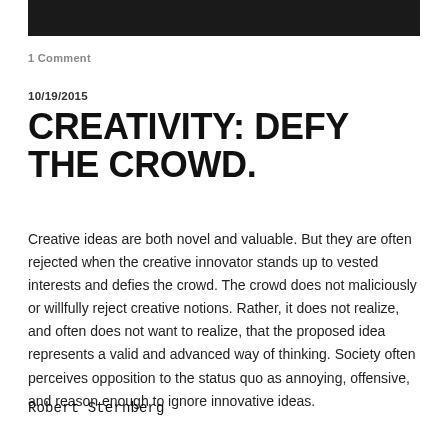[Figure (other): Black rectangular banner/header bar at top of page]
1 Comment
10/19/2015
CREATIVITY: DEFY THE CROWD.
Creative ideas are both novel and valuable. But they are often rejected when the creative innovator stands up to vested interests and defies the crowd. The crowd does not maliciously or willfully reject creative notions. Rather, it does not realize, and often does not want to realize, that the proposed idea represents a valid and advanced way of thinking. Society often perceives opposition to the status quo as annoying, offensive, and reason enough to ignore innovative ideas.
Robert Sternberg